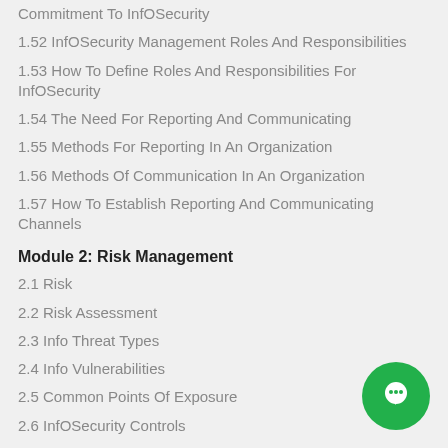Commitment To InfOSecurity
1.52 InfOSecurity Management Roles And Responsibilities
1.53 How To Define Roles And Responsibilities For InfOSecurity
1.54 The Need For Reporting And Communicating
1.55 Methods For Reporting In An Organization
1.56 Methods Of Communication In An Organization
1.57 How To Establish Reporting And Communicating Channels
Module 2: Risk Management
2.1 Risk
2.2 Risk Assessment
2.3 Info Threat Types
2.4 Info Vulnerabilities
2.5 Common Points Of Exposure
2.6 InfOSecurity Controls
2.7 Types Of InfOSecurity Controls